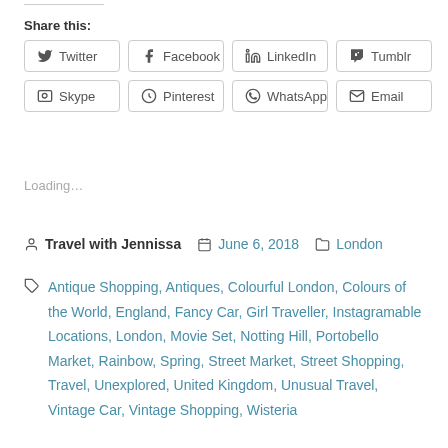Share this:
Twitter | Facebook | LinkedIn | Tumblr | Skype | Pinterest | WhatsApp | Email
Loading…
Travel with Jennissa   June 6, 2018   London
Antique Shopping, Antiques, Colourful London, Colours of the World, England, Fancy Car, Girl Traveller, Instagramable Locations, London, Movie Set, Notting Hill, Portobello Market, Rainbow, Spring, Street Market, Street Shopping, Travel, Unexplored, United Kingdom, Unusual Travel, Vintage Car, Vintage Shopping, Wisteria